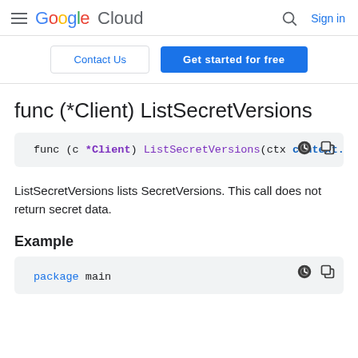Google Cloud — Sign in
[Figure (other): Contact Us and Get started for free buttons]
func (*Client) ListSecretVersions
func (c *Client) ListSecretVersions(ctx context.C
ListSecretVersions lists SecretVersions. This call does not return secret data.
Example
package main